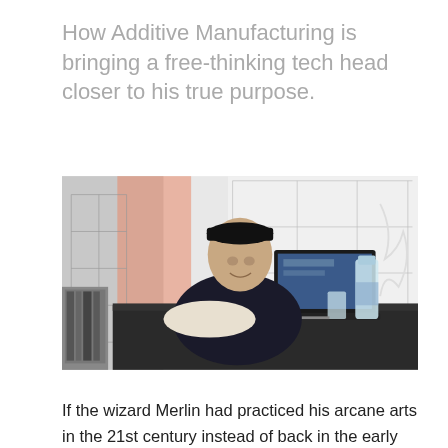How Additive Manufacturing is bringing a free-thinking tech head closer to his true purpose.
[Figure (photo): A man wearing a dark cap and navy sweater sits at a black desk with a laptop, a water bottle, and various objects on it. Behind him is a white grid-panel partition wall and an orange-lit area. The setting appears to be a modern studio or office space.]
If the wizard Merlin had practiced his arcane arts in the 21st century instead of back in the early Middle Ages, it's possible he would have tinkered with 3D printers instead of brewing up eldritch potions. As for at...